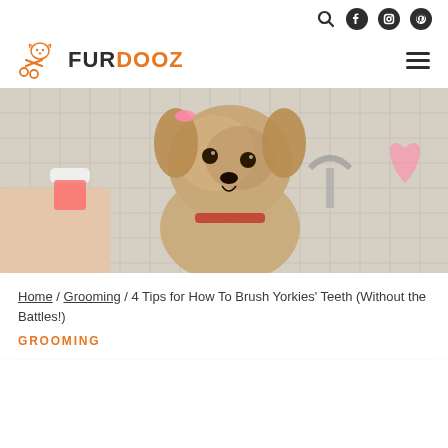FURDOOZ — navigation with search, Facebook, Instagram, Pinterest icons and hamburger menu
[Figure (photo): A Yorkshire Terrier dog being groomed, held by a person with a grooming tool, in front of a tiled wall background]
Home / Grooming / 4 Tips for How To Brush Yorkies' Teeth (Without the Battles!)
GROOMING